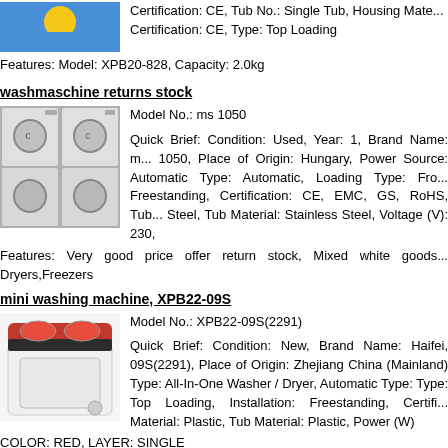Certification: CE, Tub No.: Single Tub, Housing Material: Certification: CE, Type: Top Loading
Features: Model: XPB20-828, Capacity: 2.0kg
washmaschine returns stock
[Figure (photo): Photo of stacked washing machines in white color]
Model No.: ms 1050
Quick Brief: Condition: Used, Year: 1, Brand Name: ms 1050, Place of Origin: Hungary, Power Source: Automatic Type: Automatic, Loading Type: Front Freestanding, Certification: CE, EMC, GS, RoHS, Tub Steel, Tub Material: Stainless Steel, Voltage (V): 230,
Features: Very good price offer return stock, Mixed white goods Dryers,Freezers
mini washing machine, XPB22-09S
[Figure (photo): Photo of a mini washing machine XPB22-09S in white with red/black lid]
Model No.: XPB22-09S(2291)
Quick Brief: Condition: New, Brand Name: Haifei, 09S(2291), Place of Origin: Zhejiang China (Mainland) Type: All-In-One Washer / Dryer, Automatic Type: Type: Top Loading, Installation: Freestanding, Certifi Material: Plastic, Tub Material: Plastic, Power (W)
COLOR: RED, LAYER: SINGLE